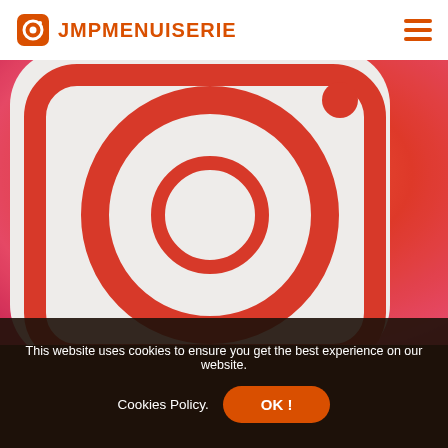JMPMENUISERIE
[Figure (photo): Close-up photograph of the Instagram app icon showing the camera logo with red/orange gradient background and white rounded square shape with circular lens]
This website uses cookies to ensure you get the best experience on our website.
Cookies Policy.
OK !